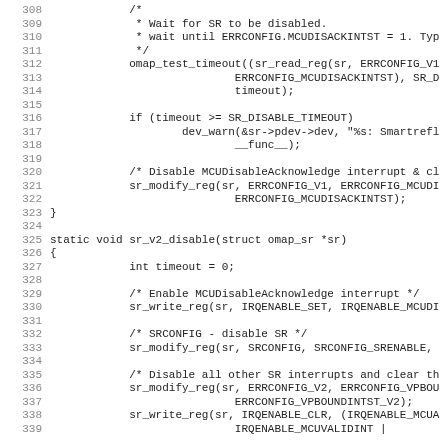[Figure (screenshot): Source code listing in monospace font showing C code for sr_v2_disable function and preceding code block, lines 308-339, with line numbers in grey on the left margin.]